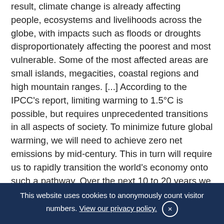result, climate change is already affecting people, ecosystems and livelihoods across the globe, with impacts such as floods or droughts disproportionately affecting the poorest and most vulnerable. Some of the most affected areas are small islands, megacities, coastal regions and high mountain ranges. [...] According to the IPCC's report, limiting warming to 1.5°C is possible, but requires unprecedented transitions in all aspects of society. To minimize future global warming, we will need to achieve zero net emissions by mid-century. This in turn will require us to rapidly transition the world's economy onto such a pathway. Over the next 10 to 20 years we must transform our energy, agricultural, urban and industrial systems, engage non-state actors, and integrate climate action into the broader public policy framework that also addresses
This website uses cookies to anonymously count visitor numbers. View our privacy policy. ×